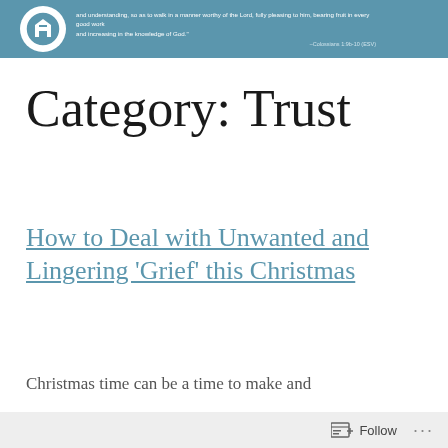[Figure (illustration): Blue header banner with white circular WordPress-style logo on the left and small white text with a Bible verse on the right]
Category: Trust
How to Deal with Unwanted and Lingering ‘Grief’ this Christmas
Christmas time can be a time to make and